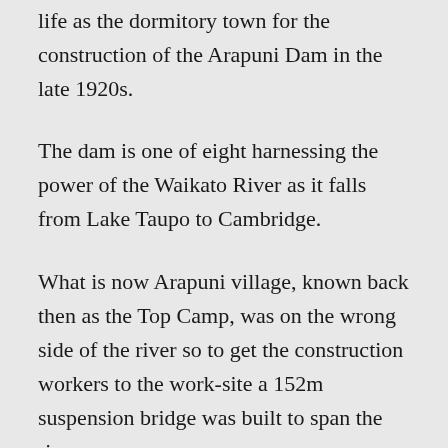life as the dormitory town for the construction of the Arapuni Dam in the late 1920s.
The dam is one of eight harnessing the power of the Waikato River as it falls from Lake Taupo to Cambridge.
What is now Arapuni village, known back then as the Top Camp, was on the wrong side of the river so to get the construction workers to the work-site a 152m suspension bridge was built to span the river.
Crossing the suspension bridge is nowhere near as scary as it looks and the view from the middle makes it worthwhile with the power station on one side and a